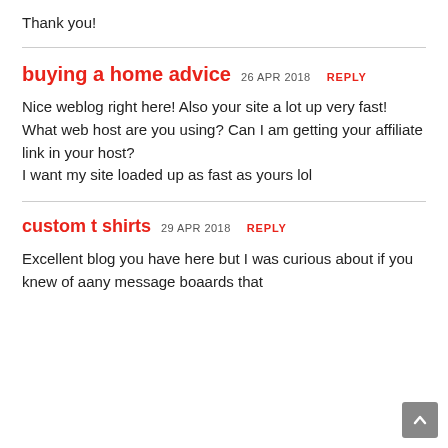Thank you!
buying a home advice   26 APR 2018   REPLY

Nice weblog right here! Also your site a lot up very fast!
What web host are you using? Can I am getting your affiliate link in your host?
I want my site loaded up as fast as yours lol
custom t shirts   29 APR 2018   REPLY

Excellent blog you have here but I was curious about if you knew of aany message boaards that